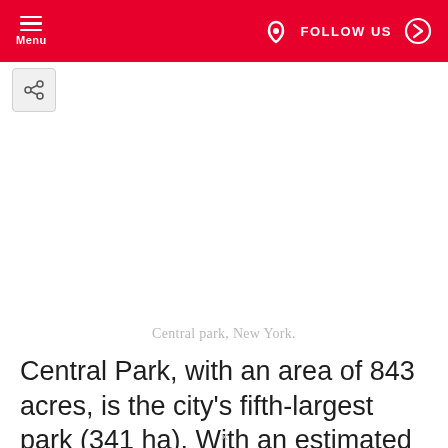Menu | FOLLOW US
[Figure (other): Share button icon with a share/export symbol]
Central park, New York.
Central Park, with an area of 843 acres, is the city's fifth-largest park (341 ha). With an estimated 42